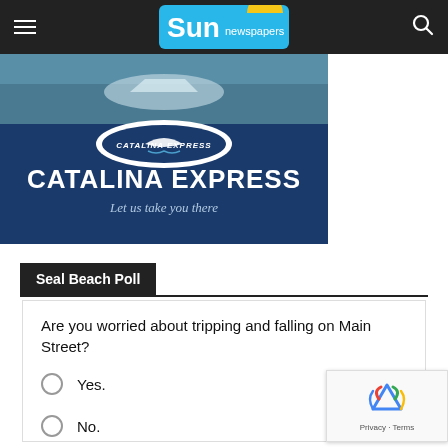Sun newspapers
[Figure (illustration): Catalina Express advertisement banner with logo, boat image, dark blue background, white text 'CATALINA EXPRESS' and tagline 'Let us take you there']
Seal Beach Poll
Are you worried about tripping and falling on Main Street?
Yes.
No.
No opinion/I never thought about it.